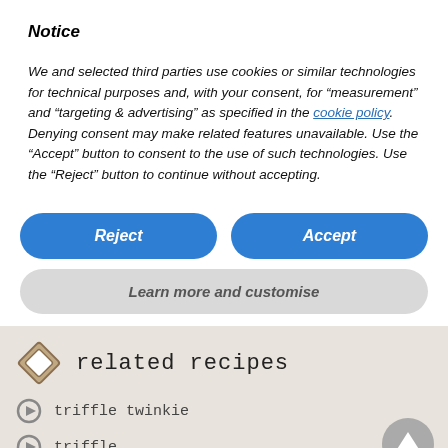Notice
We and selected third parties use cookies or similar technologies for technical purposes and, with your consent, for “measurement” and “targeting & advertising” as specified in the cookie policy. Denying consent may make related features unavailable. Use the “Accept” button to consent to the use of such technologies. Use the “Reject” button to continue without accepting.
[Figure (other): Reject button (blue, rounded)]
[Figure (other): Accept button (blue, rounded)]
[Figure (other): Learn more and customise button (gray, rounded)]
related recipes
triffle twinkie
triffle